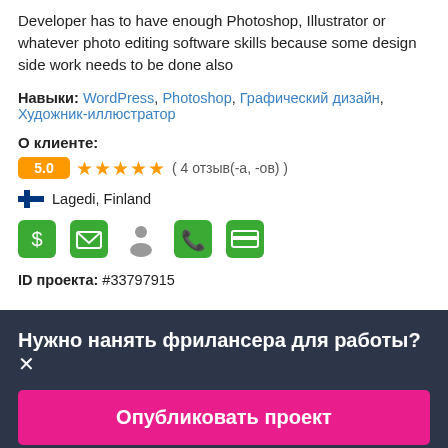Developer has to have enough Photoshop, Illustrator or whatever photo editing software skills because some design side work needs to be done also
Навыки: WordPress, Photoshop, Графический дизайн, Художник-иллюстратор
О клиенте:
5.0 ★★★★★ ( 4 отзыв(-а, -ов) )
🇫🇮 Lagedi, Finland
[Figure (infographic): Row of 5 green/grey icons: dollar shield, envelope, person, phone, card]
ID проекта: #33797915
Нужно нанять фрилансера для работы?×
Опубликовать проект